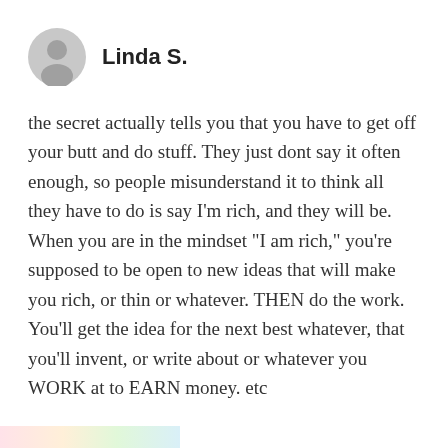Linda S.
the secret actually tells you that you have to get off your butt and do stuff. They just dont say it often enough, so people misunderstand it to think all they have to do is say I'm rich, and they will be. When you are in the mindset "I am rich," you're supposed to be open to new ideas that will make you rich, or thin or whatever. THEN do the work. You'll get the idea for the next best whatever, that you'll invent, or write about or whatever you WORK at to EARN money. etc